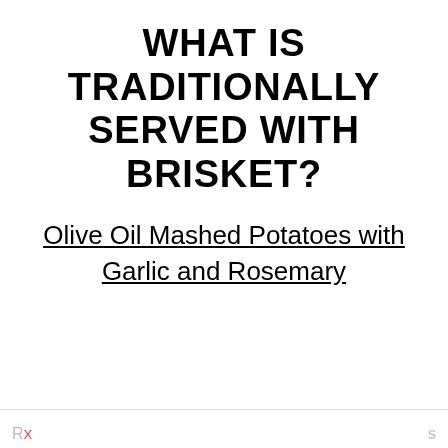WHAT IS TRADITIONALLY SERVED WITH BRISKET?
Olive Oil Mashed Potatoes with Garlic and Rosemary
[Figure (screenshot): UI elements: heart/favorite button with count 156, and a blue circular search button]
[Figure (screenshot): Advertisement bar with restaurant logo, Dine-in and Curbside pickup options, and a blue diamond navigation icon]